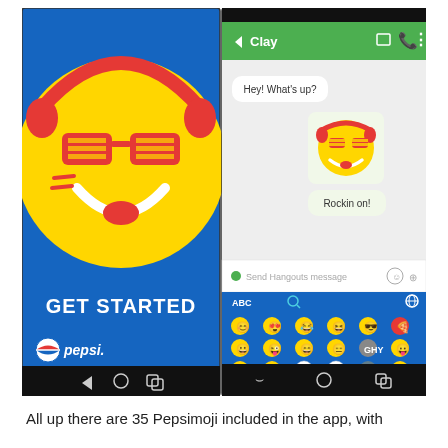[Figure (screenshot): Two mobile phone screenshots side by side. Left: Pepsi app 'GET STARTED' screen with a Pepsimoji (emoji with sunglasses and headphones) on blue background with Pepsi logo. Right: Google Hangouts chat showing 'Clay' conversation with 'Hey! What's up?' and a Pepsimoji sticker reply followed by 'Rockin on!' text, and a Pepsi emoji keyboard at the bottom with multiple Pepsimoji options on blue background.]
All up there are 35 Pepsimoji included in the app, with